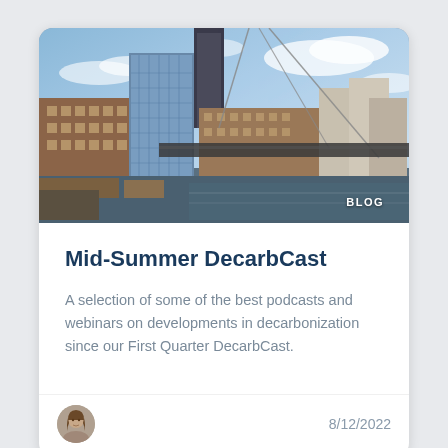[Figure (photo): Urban construction scene with city buildings including a glass tower, brick buildings, crane cables, and waterfront construction zone under a partly cloudy blue sky. White text 'BLOG' overlaid in bottom-right corner.]
Mid-Summer DecarbCast
A selection of some of the best podcasts and webinars on developments in decarbonization since our First Quarter DecarbCast.
[Figure (photo): Small circular avatar portrait of a woman with brown hair.]
8/12/2022